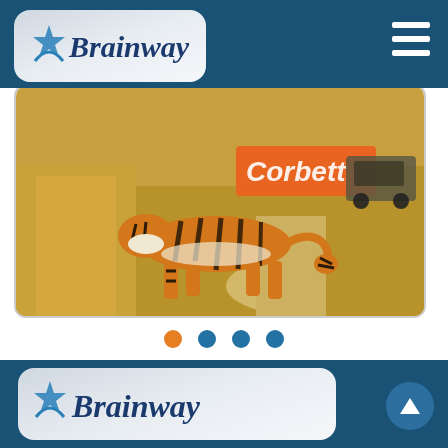[Figure (logo): Brainway logo with star icon on rounded card in dark blue navigation bar]
[Figure (photo): A tiger walking across a dirt path in dry golden grassland, with a partially visible 'Golden' sign banner and a vehicle in the background]
[Figure (infographic): Carousel navigation dots: one orange active dot followed by three dark blue inactive dots]
[Figure (logo): Brainway logo with star icon on rounded card in bottom dark blue section]